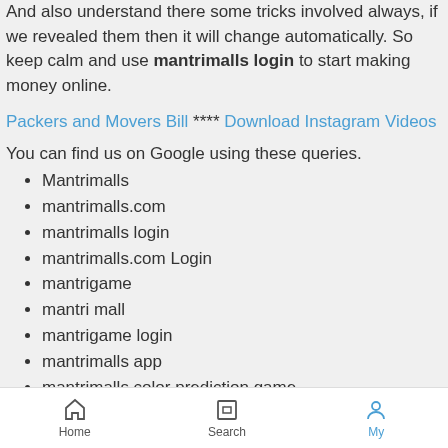And also understand there some tricks involved always, if we revealed them then it will change automatically. So keep calm and use mantrimalls login to start making money online.
Packers and Movers Bill **** Download Instagram Videos
You can find us on Google using these queries.
Mantrimalls
mantrimalls.com
mantrimalls login
mantrimalls.com Login
mantrigame
mantri mall
mantrigame login
mantrimalls app
mantrimalls color prediction game
mantrimall
color prediction game
Home  Search  My